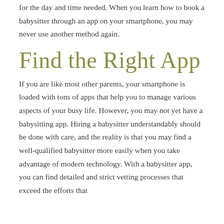for the day and time needed. When you learn how to book a babysitter through an app on your smartphone, you may never use another method again.
Find the Right App
If you are like most other parents, your smartphone is loaded with tons of apps that help you to manage various aspects of your busy life. However, you may not yet have a babysitting app. Hiring a babysitter understandably should be done with care, and the reality is that you may find a well-qualified babysitter more easily when you take advantage of modern technology. With a babysitter app, you can find detailed and strict vetting processes that exceed the efforts that